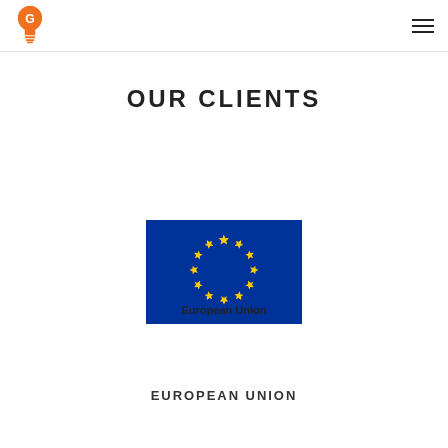[Figure (logo): Orange lightbulb/pin logo mark in top left header]
OUR CLIENTS
[Figure (logo): European Union flag logo: blue rectangle with circle of 12 yellow stars, with 'European Union' text below in dark serif font]
EUROPEAN UNION